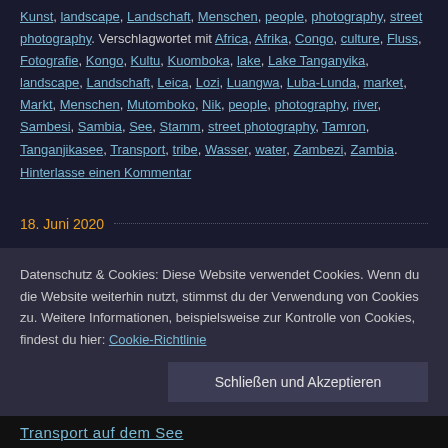Kunst, landscape, Landschaft, Menschen, people, photography, street photography. Verschlagwortet mit Africa, Afrika, Congo, culture, Fluss, Fotografie, Kongo, Kultu, Kuomboka, lake, Lake Tanganyika, landscape, Landschaft, Leica, Lozi, Luangwa, Luba-Lunda, market, Markt, Menschen, Mutomboko, Nik, people, photography, river, Sambesi, Sambia, See, Stamm, street photography, Tamron, Tanganjikasee, Transport, tribe, Wasser, water, Zambezi, Zambia.
Hinterlasse einen Kommentar
18. Juni 2020
Datenschutz & Cookies: Diese Website verwendet Cookies. Wenn du die Website weiterhin nutzt, stimmst du der Verwendung von Cookies zu. Weitere Informationen, beispielsweise zur Kontrolle von Cookies, findest du hier: Cookie-Richtlinie
Schließen und Akzeptieren